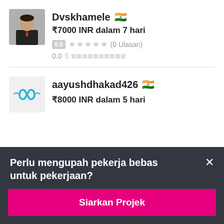Dvskhamele 🇮🇳
₹7000 INR dalam 7 hari
0.0 ★★★★★ (0 Ulasan)
0.0
aayushdhakad426 🇮🇳
₹8000 INR dalam 5 hari
Perlu mengupah pekerja bebas untuk pekerjaan?
Siarkan Projek